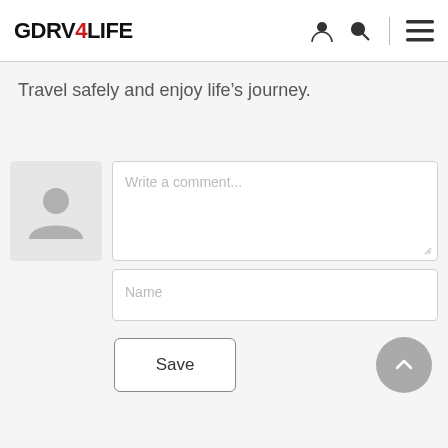GDRV4LIFE
Travel safely and enjoy life's journey.
[Figure (screenshot): Comment form with avatar placeholder, comment textarea with 'Write a comment...' placeholder, name input field with 'Name' placeholder, Save button, and scroll-to-top button]